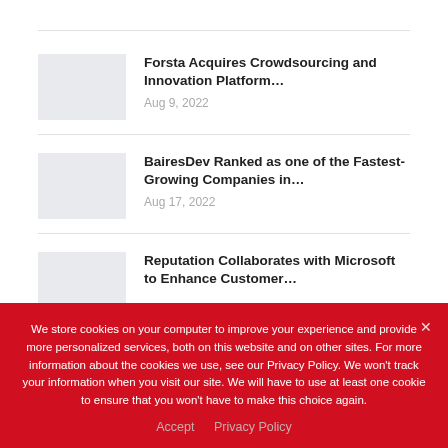[Figure (screenshot): News listing with three articles, each with a gray thumbnail image placeholder, bold title text, and a gray date. Articles: 'Forsta Acquires Crowdsourcing and Innovation Platform...' (Aug 9, 2022), 'BairesDev Ranked as one of the Fastest-Growing Companies in...' (Aug 17, 2022), 'Reputation Collaborates with Microsoft to Enhance Customer...' (partially visible, no date shown).]
We store cookies on your computer to improve your experience and provide more personalized services, both on this website and on other sites. For more information about the cookies we use, see our Privacy Policy. We won't track your information when you visit our site. We will have to use at least one cookie to ensure that you won't have to make this choice again.
Accept   Privacy Policy